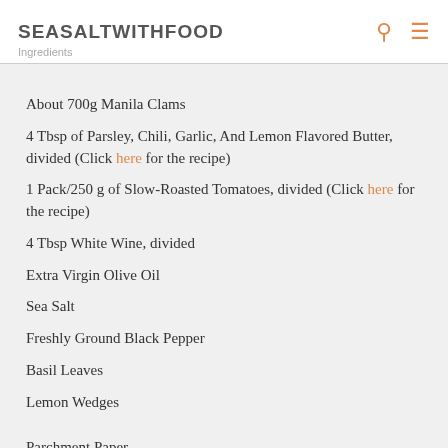SEASALTWITHFOOD
About 700g Manila Clams
4 Tbsp of Parsley, Chili, Garlic, And Lemon Flavored Butter, divided (Click here for the recipe)
1 Pack/250 g of Slow-Roasted Tomatoes, divided (Click here for the recipe)
4 Tbsp White Wine, divided
Extra Virgin Olive Oil
Sea Salt
Freshly Ground Black Pepper
Basil Leaves
Lemon Wedges
Parchment Paper
Kitchen Strings